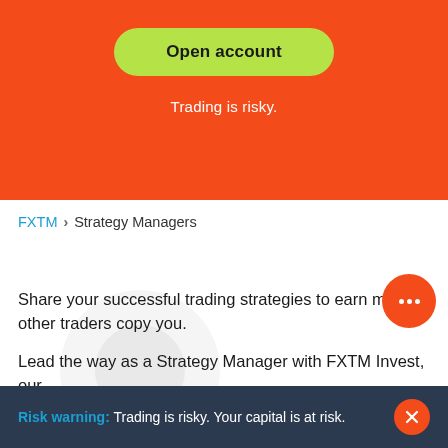Open account
Trading is risky.
FXTM > Strategy Managers
Share your successful trading strategies to earn more other traders copy you.
Lead the way as a Strategy Manager with FXTM Invest, our copy trading program. This gives you the chance to earn
Risk warning: Trading is risky. Your capital is at risk.